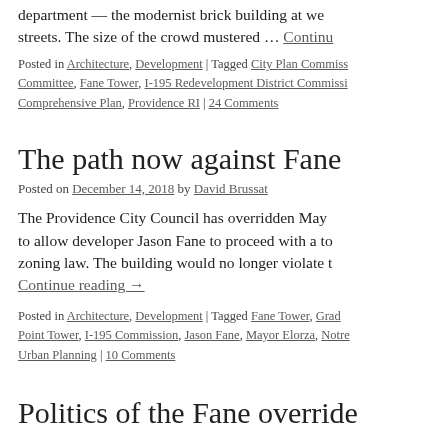department — the modernist brick building at we streets. The size of the crowd mustered … Continu
Posted in Architecture, Development | Tagged City Plan Commiss Committee, Fane Tower, I-195 Redevelopment District Commissi Comprehensive Plan, Providence RI | 24 Comments
The path now against Fane
Posted on December 14, 2018 by David Brussat
The Providence City Council has overridden May to allow developer Jason Fane to proceed with a to zoning law. The building would no longer violate t Continue reading →
Posted in Architecture, Development | Tagged Fane Tower, Grad Point Tower, I-195 Commission, Jason Fane, Mayor Elorza, Notre Urban Planning | 10 Comments
Politics of the Fane override